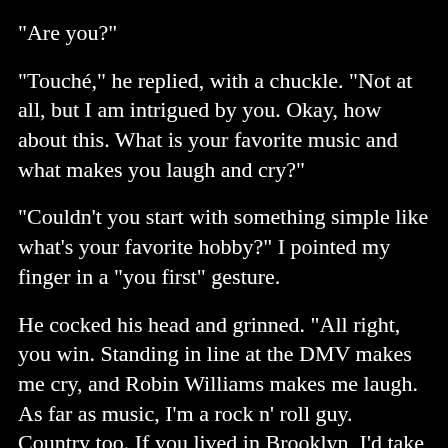"Are you?"
"Touché," he replied, with a chuckle. "Not at all, but I am intrigued by you. Okay, how about this. What is your favorite music and what makes you laugh and cry?"
"Couldn't you start with something simple like what's your favorite hobby?" I pointed my finger in a "you first" gesture.
He cocked his head and grinned. "All right, you win. Standing in line at the DMV makes me cry, and Robin Williams makes me laugh. As far as music, I'm a rock n' roll guy. Country too. If you lived in Brooklyn, I'd take you to La-Morz. Bob Dylan played there last week. What do you like?"
"Classical. Artists and poets inspired so much of the music."